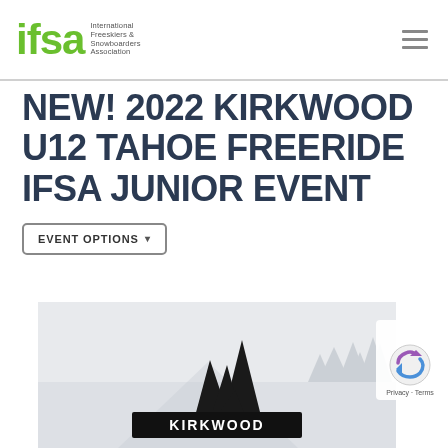IFSA - International Freeskiers & Snowboarders Association
NEW! 2022 KIRKWOOD U12 TAHOE FREERIDE IFSA JUNIOR EVENT
EVENT OPTIONS
[Figure (logo): Kirkwood mountain logo with black mountain peak graphic and KIRKWOOD text on white/snowy background]